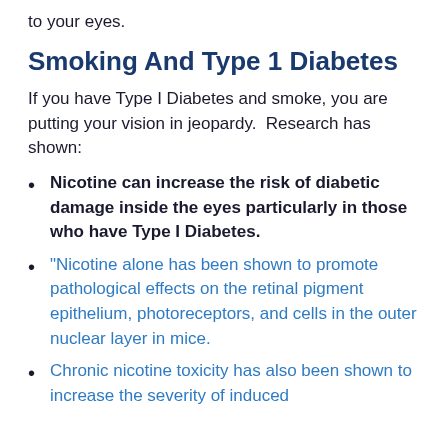to your eyes.
Smoking And Type 1 Diabetes
If you have Type I Diabetes and smoke, you are putting your vision in jeopardy.  Research has shown:
Nicotine can increase the risk of diabetic damage inside the eyes particularly in those who have Type I Diabetes.
“Nicotine alone has been shown to promote pathological effects on the retinal pigment epithelium, photoreceptors, and cells in the outer nuclear layer in mice.
Chronic nicotine toxicity has also been shown to increase the severity of induced